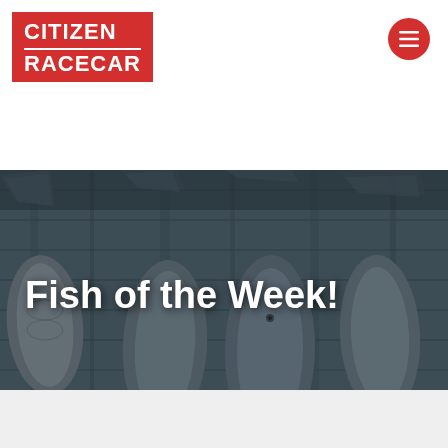CITIZEN RACECAR
[Figure (photo): Photo of several whole fish (salmon/trout) with tails visible, lying on a dark weathered wooden surface, shot from above. Overlaid with bold white text 'Fish of the Week!']
Fish of the Week!